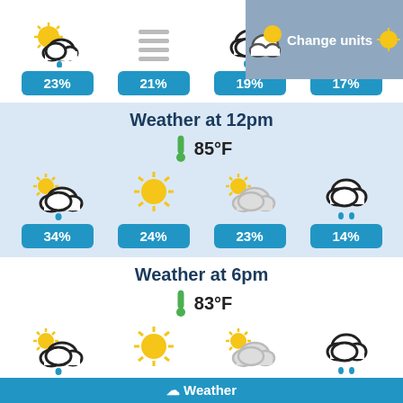[Figure (infographic): Weather icons row at top: partly cloudy with rain (23%), menu icon (21%), cloudy with rain (19%), sunny (17%). 'Change units' overlay button top right.]
Weather at 12pm
85°F
[Figure (infographic): Four weather icons for 12pm: partly cloudy rain 34%, sunny 24%, partly cloudy 23%, cloudy rain 14%]
Weather at 6pm
83°F
[Figure (infographic): Four weather icons for 6pm: partly cloudy rain 34%, sunny 30%, partly cloudy 19%, cloudy rain 15%]
Weather